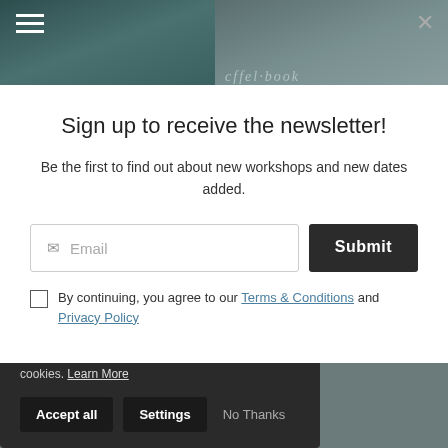[Figure (screenshot): Top navigation bar area with two image panels showing dark teal/blue knitting or plant background images, hamburger menu icon on left, close X button on right]
Sign up to receive the newsletter!
Be the first to find out about new workshops and new dates added.
Email input field with Submit button
By continuing, you agree to our Terms & Conditions and Privacy Policy
Cookie Use
We use cookies to ensure a smooth browsing experience. By accepting, you agree the use of cookies. Learn More
Accept all | Settings | No Thanks